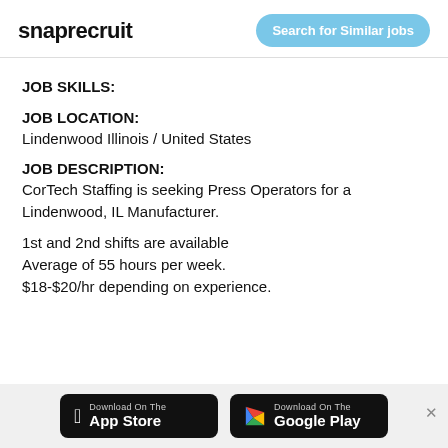snaprecruit
Search for Similar jobs
JOB SKILLS:
JOB LOCATION:
Lindenwood Illinois / United States
JOB DESCRIPTION:
CorTech Staffing is seeking Press Operators for a Lindenwood, IL Manufacturer.
1st and 2nd shifts are available
Average of 55 hours per week.
$18-$20/hr depending on experience.
[Figure (other): Download on the App Store button and Download on Google Play button at the bottom of the page]